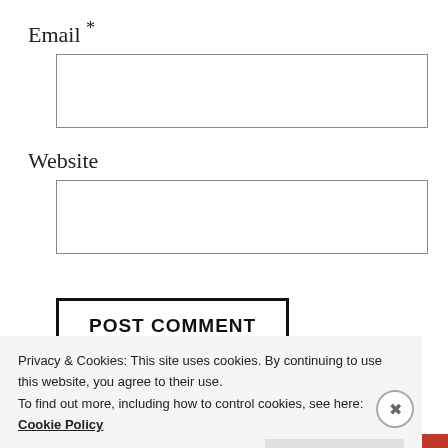Email *
[Figure (other): Empty email input text box]
Website
[Figure (other): Empty website input text box]
POST COMMENT
Notify me of new comments via email (partially visible)
Privacy & Cookies: This site uses cookies. By continuing to use this website, you agree to their use.
To find out more, including how to control cookies, see here: Cookie Policy
Close and accept